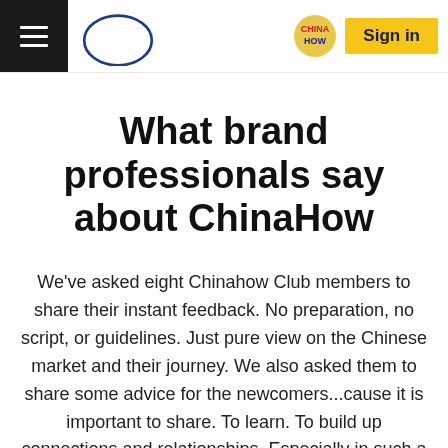Sign in
What brand professionals say about ChinaHow
We've asked eight Chinahow Club members to share their instant feedback. No preparation, no script, or guidelines. Just pure view on the Chinese market and their journey. We also asked them to share some advice for the newcomers...cause it is important to share. To learn. To build up connections and relationships. Especially in such a turbulent time when people matter most.